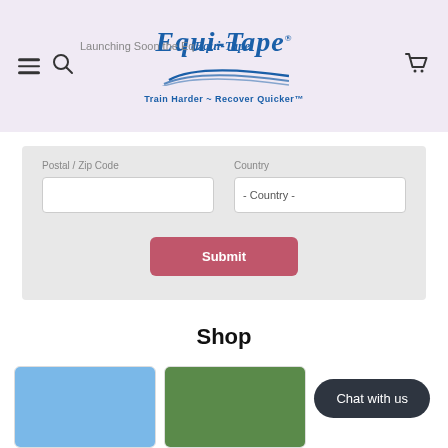Equi-Tape — Train Harder ~ Recover Quicker™
Launching Soon the Eq...
Postal / Zip Code
Country
- Country -
Submit
Shop
[Figure (photo): Product image with blue background]
[Figure (photo): Product image with green/outdoor background]
Chat with us